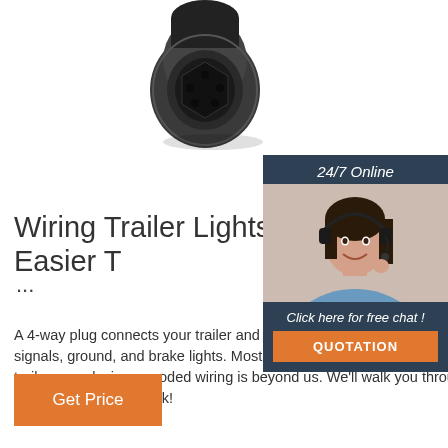[Figure (photo): A black cylindrical 4-way trailer plug connector viewed from the front, showing the pin socket end.]
Wiring Trailer Lights with 4-Way Plug (It's Easier T...
...
A 4-way plug connects your trailer and tow vehicle and provides the required running turn signals, ground, and brake lights. Most aren't electricians, but that doesn't mean wiring a trailer or replacing corroded wiring is beyond us. We'll walk you through the wiring process--it's easier than you think!
[Figure (photo): Customer service chat widget with a woman wearing a headset, '24/7 Online' label, 'Click here for free chat!' text, and a QUOTATION button.]
Get Price